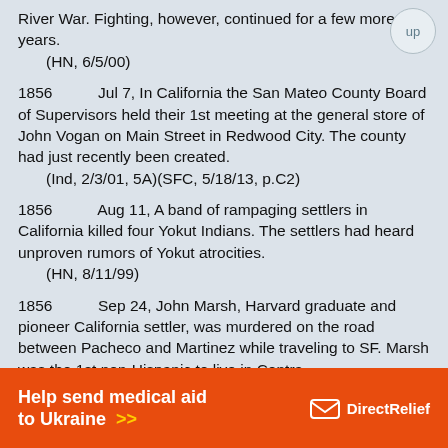River War. Fighting, however, continued for a few more years.
    (HN, 6/5/00)
1856    Jul 7, In California the San Mateo County Board of Supervisors held their 1st meeting at the general store of John Vogan on Main Street in Redwood City. The county had just recently been created.
    (Ind, 2/3/01, 5A)(SFC, 5/18/13, p.C2)
1856    Aug 11, A band of rampaging settlers in California killed four Yokut Indians. The settlers had heard unproven rumors of Yokut atrocities.
    (HN, 8/11/99)
1856    Sep 24, John Marsh, Harvard graduate and pioneer California settler, was murdered on the road between Pacheco and Martinez while traveling to SF. Marsh was the 1st non-Hispanic to live in Contra
[Figure (other): Advertisement banner: 'Help send medical aid to Ukraine >>' with Direct Relief logo on orange background]